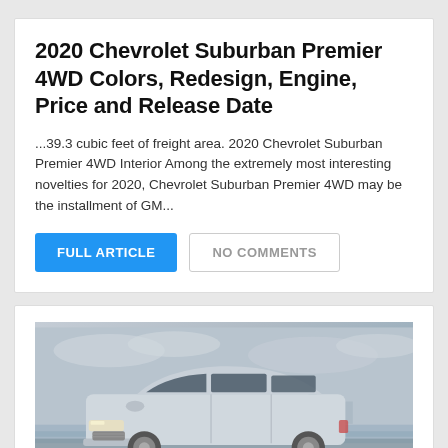2020 Chevrolet Suburban Premier 4WD Colors, Redesign, Engine, Price and Release Date
...39.3 cubic feet of freight area. 2020 Chevrolet Suburban Premier 4WD Interior Among the extremely most interesting novelties for 2020, Chevrolet Suburban Premier 4WD may be the installment of GM...
FULL ARTICLE | NO COMMENTS
[Figure (photo): A silver/white SUV (Chevrolet) viewed from the front-side angle, parked near a waterfront with cityscape in the background under an overcast sky.]